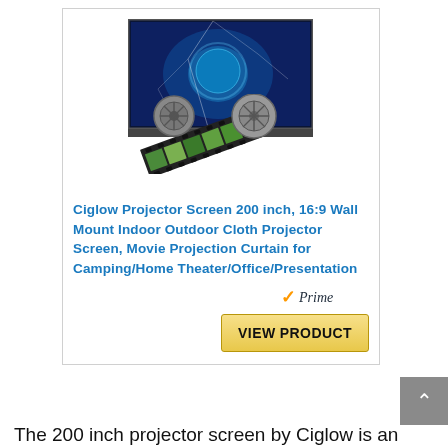[Figure (photo): Product image showing a projector screen with a cracked display showing a blue planet/earth scene in space, with film reels and a film strip in the foreground.]
Ciglow Projector Screen 200 inch, 16:9 Wall Mount Indoor Outdoor Cloth Projector Screen, Movie Projection Curtain for Camping/Home Theater/Office/Presentation
[Figure (logo): Amazon Prime badge with orange checkmark and Prime text in italic]
VIEW PRODUCT
The 200 inch projector screen by Ciglow is an